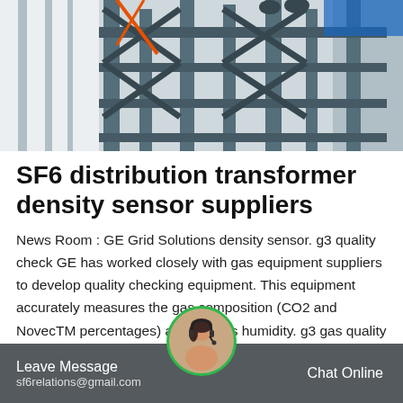[Figure (photo): Industrial steel structure with metal scaffolding, walkways and supports photographed from below. People visible at top. Gray and orange equipment visible.]
SF6 distribution transformer density sensor suppliers
News Room : GE Grid Solutions density sensor. g3 quality check GE has worked closely with gas equipment suppliers to develop quality checking equipment. This equipment accurately measures the gas composition (CO2 and NovecTM percentages) and the gas humidity. g3 gas quality monitoring g3 delivery Gas handling is made very easy for the customer
Leave Message  sf6relations@gmail.com  Chat Online